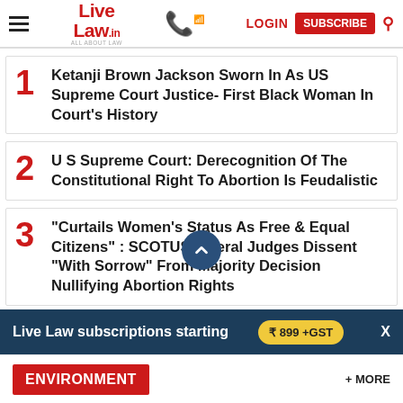Live Law | LOGIN | SUBSCRIBE
1 Ketanji Brown Jackson Sworn In As US Supreme Court Justice- First Black Woman In Court's History
2 U S Supreme Court: Derecognition Of The Constitutional Right To Abortion Is Feudalistic
3 "Curtails Women's Status As Free & Equal Citizens" : SCOTUS Liberal Judges Dissent "With Sorrow" From Majority Decision Nullifying Abortion Rights
BREAKING US S...
Live Law subscriptions starting ₹ 899 +GST  X
ENVIRONMENT   + MORE